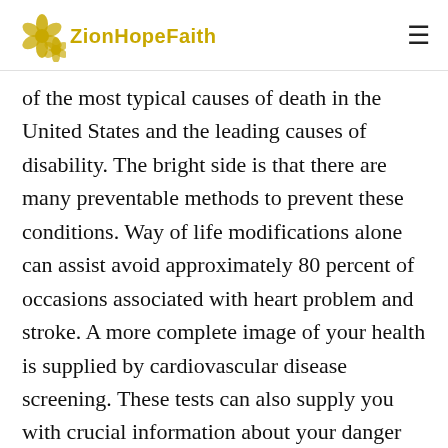ZionHopeFaith
of the most typical causes of death in the United States and the leading causes of disability. The bright side is that there are many preventable methods to prevent these conditions. Way of life modifications alone can assist avoid approximately 80 percent of occasions associated with heart problem and stroke. A more complete image of your health is supplied by cardiovascular disease screening. These tests can also supply you with crucial information about your danger aspects for both conditions.